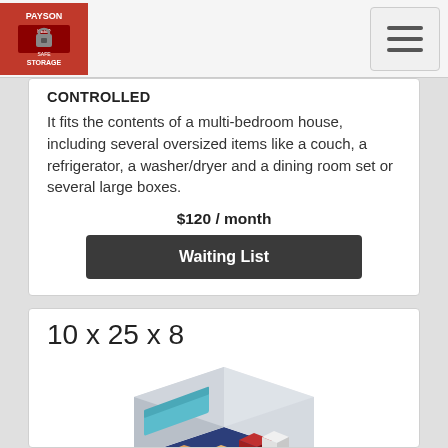Payson Keep Safe Storage
CONTROLLED
It fits the contents of a multi-bedroom house, including several oversized items like a couch, a refrigerator, a washer/dryer and a dining room set or several large boxes.
$120 / month
Waiting List
10 x 25 x 8
[Figure (illustration): Isometric illustration of a 10x25 storage unit interior showing furniture and boxes. Dimensions labeled: 25' and 10' in orange text.]
DRIVE UP OUTSIDE, NON-CLIMATE